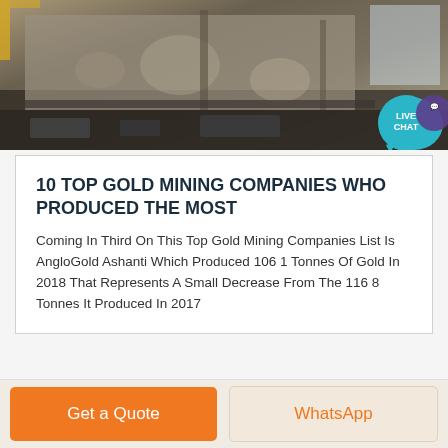[Figure (photo): Industrial mining facility interior showing machinery and a concrete/metal wall with stained surfaces, photographed from below looking up.]
10 TOP GOLD MINING COMPANIES WHO PRODUCED THE MOST
Coming In Third On This Top Gold Mining Companies List Is AngloGold Ashanti Which Produced 106 1 Tonnes Of Gold In 2018 That Represents A Small Decrease From The 116 8 Tonnes It Produced In 2017
Get a Quote
WhatsApp